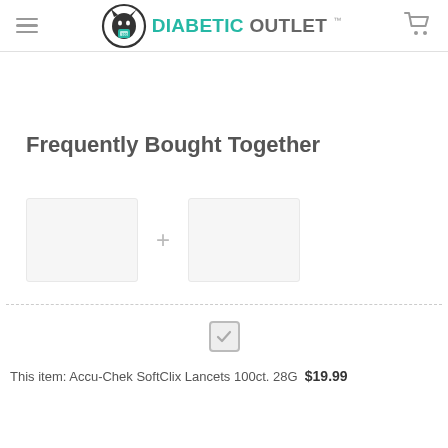Diabetic Outlet
Frequently Bought Together
[Figure (other): Two product image placeholders with a plus sign between them, representing a frequently bought together product pairing]
This item: Accu-Chek SoftClix Lancets 100ct. 28G  $19.99